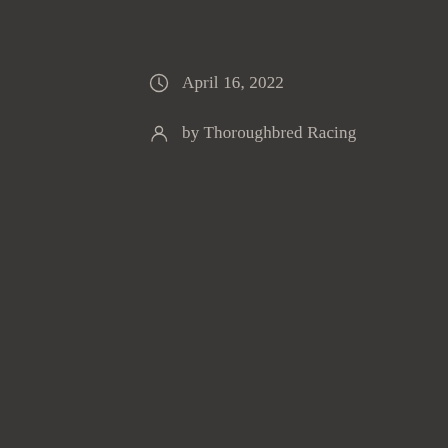April 16, 2022
by Thoroughbred Racing